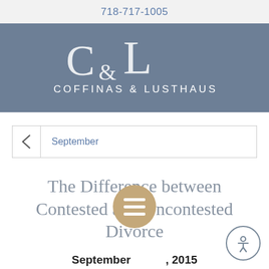718-717-1005
[Figure (logo): Coffinas & Lusthaus law firm logo — stylized C&L monogram above the text COFFINAS & LUSTHAUS on a steel-blue background]
September
The Difference between Contested and Uncontested Divorce
September , 2015
By Coffinas Lusthaus, P.C.